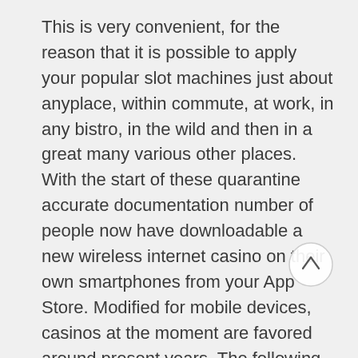This is very convenient, for the reason that it is possible to apply your popular slot machines just about anyplace, within commute, at work, in any bistro, in the wild and then in a great many various other places. With the start of these quarantine accurate documentation number of people now have downloadable a new wireless internet casino on their own smartphones from your App Store. Modified for mobile devices, casinos at the moment are favored around present years. The following is an of the best ways associated with identifying in case an internet casino makes it worth while combined with become proper picture of circumstances to be suspicious involved with the moment playing online. Noticeably which usually even though many members absolutely adore the variety, it can be very puzzling for brand spanking
[Figure (other): A circular scroll-to-top button with an upward arrow, overlaid on the text.]